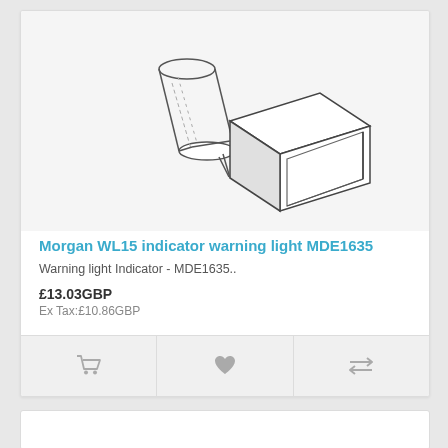[Figure (illustration): Line drawing / technical illustration of the Morgan WL15 indicator warning light (MDE1635). Shows a rectangular flat-faced housing with a cylindrical mounting bracket/arm attached to the back-left side, viewed in isometric perspective. Drawn in black outlines on light grey background.]
Morgan WL15 indicator warning light MDE1635
Warning light Indicator - MDE1635..
£13.03GBP
Ex Tax:£10.86GBP